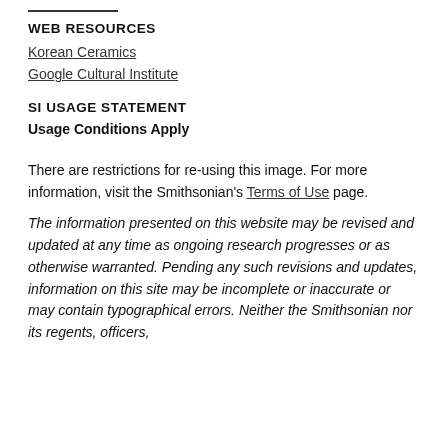WEB RESOURCES
Korean Ceramics
Google Cultural Institute
SI USAGE STATEMENT
Usage Conditions Apply
There are restrictions for re-using this image. For more information, visit the Smithsonian's Terms of Use page.
The information presented on this website may be revised and updated at any time as ongoing research progresses or as otherwise warranted. Pending any such revisions and updates, information on this site may be incomplete or inaccurate or may contain typographical errors. Neither the Smithsonian nor its regents, officers,